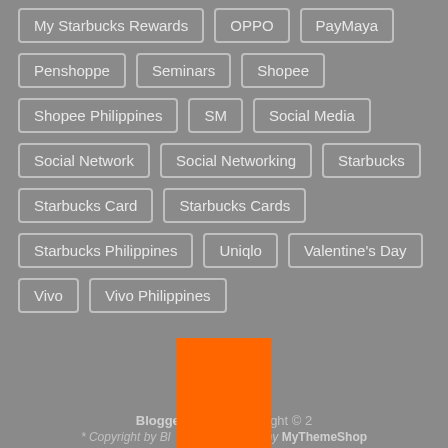My Starbucks Rewards
OPPO
PayMaya
Penshoppe
Seminars
Shopee
Shopee Philippines
SM
Social Media
Social Network
Social Networking
Starbucks
Starbucks Card
Starbucks Cards
Starbucks Philippines
Uniqlo
Valentine's Day
Vivo
Vivo Philippines
Blogger Manila Copyright © 2 * Copyright by Bl * Theme by MyThemeShop